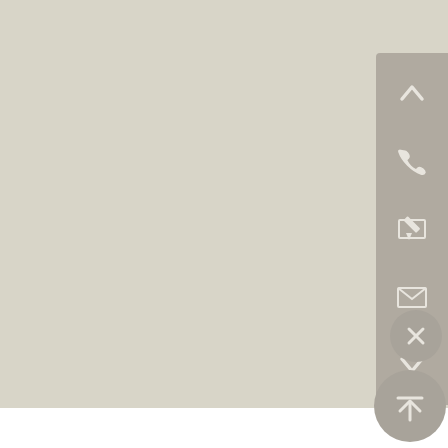[Figure (screenshot): A webpage screenshot showing a beige/light gray background with a vertical sidebar panel on the right containing navigation icons: up arrow (chevron), phone icon, pencil/edit icon, envelope/mail icon, and down arrow (chevron). Below the panel is a circular close (X) button. In the bottom-right corner is a circular scroll-to-top button with an upward arrow and a horizontal line above it. The bottom of the page shows a white footer area.]